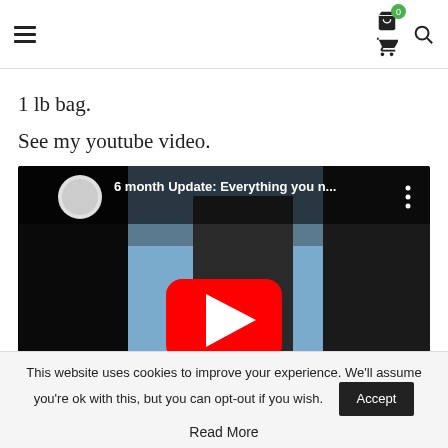Navigation header with hamburger menu, cart icon (badge: 0), and search icon
1 lb bag.
See my youtube video.
[Figure (screenshot): YouTube video embed showing '6 month Update: Everything you n...' with a man gesturing outdoors near water, red YouTube play button overlay, channel logo circle on left]
This website uses cookies to improve your experience. We'll assume you're ok with this, but you can opt-out if you wish.
Read More